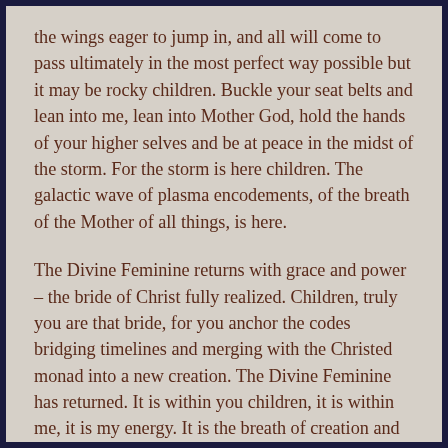the wings eager to jump in, and all will come to pass ultimately in the most perfect way possible but it may be rocky children. Buckle your seat belts and lean into me, lean into Mother God, hold the hands of your higher selves and be at peace in the midst of the storm. For the storm is here children. The galactic wave of plasma encodements, of the breath of the Mother of all things, is here.
The Divine Feminine returns with grace and power – the bride of Christ fully realized. Children, truly you are that bride, for you anchor the codes bridging timelines and merging with the Christed monad into a new creation. The Divine Feminine has returned. It is within you children, it is within me, it is my energy. It is the breath of creation and as you accept this divine power into your lives you will see how much more joyful and easy it will be to create anew, for your powers will become and are